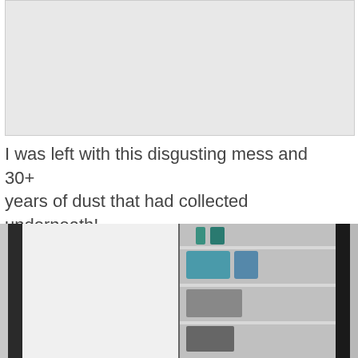[Figure (photo): Top photo showing a messy area, appears partially cropped/grey placeholder area]
I was left with this disgusting mess and 30+ years of dust that had collected underneath! ICK!!!
[Figure (photo): Bottom two photos side by side showing before/after of a closet or shelving unit with items including baskets on shelves]